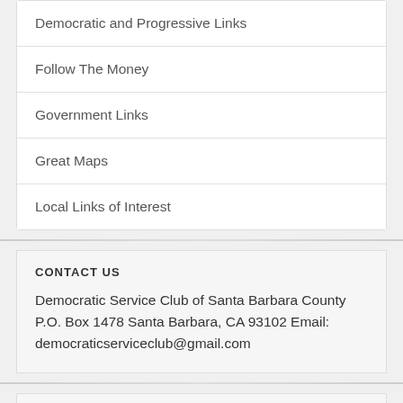Democratic and Progressive Links
Follow The Money
Government Links
Great Maps
Local Links of Interest
CONTACT US
Democratic Service Club of Santa Barbara County P.O. Box 1478 Santa Barbara, CA 93102 Email: democraticserviceclub@gmail.com
UPCOMING EVENTS
There are no upcoming events.